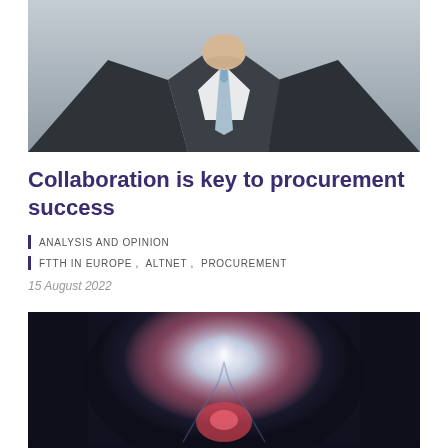[Figure (photo): Partial view of a man in a dark suit with a light blue tie, cropped at chest level, against a light grey background.]
Collaboration is key to procurement success
ANALYSIS AND OPINION
FTTH IN EUROPE ,  ALTNET ,  PROCUREMENT
15 August 2022
[Figure (photo): Abstract blurred image with a central glowing light beam, pink/red accent, and dark surroundings suggesting hands or motion.]